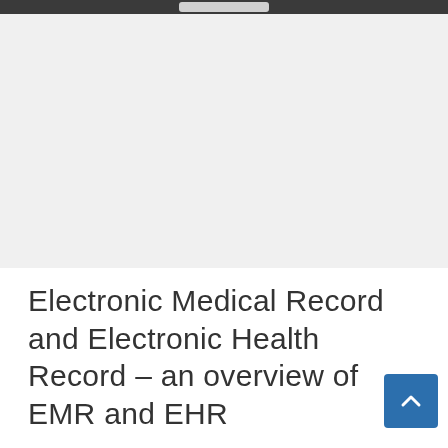Electronic Medical Record and Electronic Health Record – an overview of EMR and EHR